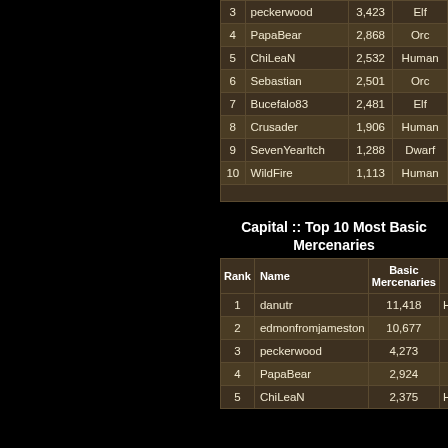| Rank | Name | Basic Mercenaries | Race |
| --- | --- | --- | --- |
| 3 | peckerwood | 3,423 | Elf |
| 4 | PapaBear | 2,868 | Orc |
| 5 | ChiLeaN | 2,532 | Human |
| 6 | Sebastian | 2,501 | Orc |
| 7 | Bucefalo83 | 2,481 | Elf |
| 8 | Crusader | 1,906 | Human |
| 9 | SevenYearItch | 1,288 | Dwarf |
| 10 | WildFire | 1,113 | Human |
Capital :: Top 10 Most Basic Mercenaries
| Rank | Name | Basic Mercenaries | Race |
| --- | --- | --- | --- |
| 1 | danutr | 11,418 | Human |
| 2 | edmonfromjameston | 10,677 | Orc |
| 3 | peckerwood | 4,273 | Elf |
| 4 | PapaBear | 2,924 | Orc |
| 5 | ChiLeaN | 2,375 | Human |